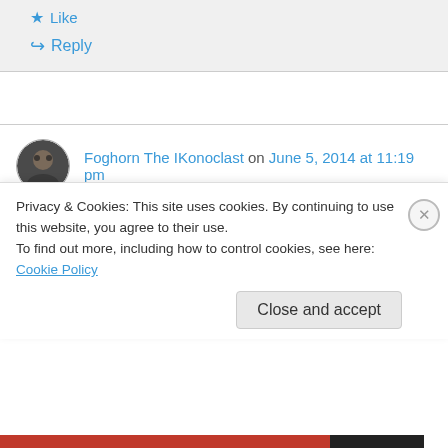★ Like
↪ Reply
Foghorn The IKonoclast on June 5, 2014 at 11:19 pm
If we could speed up the earth would we age slower and would we usher in another Ice Age?
Privacy & Cookies: This site uses cookies. By continuing to use this website, you agree to their use.
To find out more, including how to control cookies, see here: Cookie Policy
Close and accept